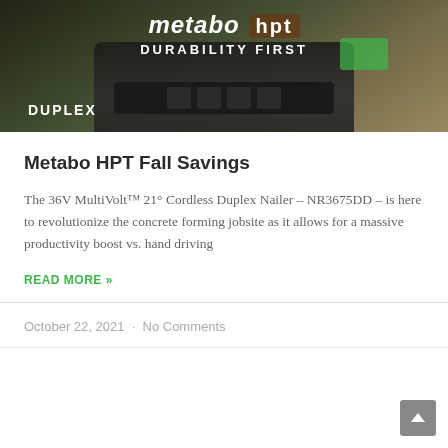[Figure (photo): Metabo HPT branded hero image showing a DUPLEX cordless nailer tool against a wood/jobsite background. Text overlay reads 'metabo HPT DURABILITY FIRST' and 'DUPLEX'.]
Metabo HPT Fall Savings
The 36V MultiVolt™ 21° Cordless Duplex Nailer – NR3675DD – is here to revolutionize the concrete forming jobsite as it allows for a massive productivity boost vs. hand driving
READ MORE »
October 22, 2021  ·  No Comments